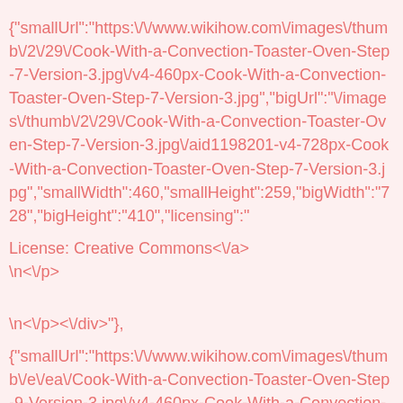{"smallUrl":"https:\/\/www.wikihow.com\/images\/thumb\/2\/29\/Cook-With-a-Convection-Toaster-Oven-Step-7-Version-3.jpg\/v4-460px-Cook-With-a-Convection-Toaster-Oven-Step-7-Version-3.jpg","bigUrl":"\/images\/thumb\/2\/29\/Cook-With-a-Convection-Toaster-Oven-Step-7-Version-3.jpg\/aid1198201-v4-728px-Cook-With-a-Convection-Toaster-Oven-Step-7-Version-3.jpg","smallWidth":460,"smallHeight":259,"bigWidth":"728","bigHeight":"410","licensing":"
License: Creative Commons<\/a>
<\/p>
<\/p><\/div>"},
{"smallUrl":"https:\/\/www.wikihow.com\/images\/thumb\/e\/ea\/Cook-With-a-Convection-Toaster-Oven-Step-9-Version-3.jpg\/v4-460px-Cook-With-a-Convection-Toaster-Oven-Step-9-Version-3.jpg","bigUrl":"\/images\/thumb\/e\/ea\/Cook-With-a-Convection-